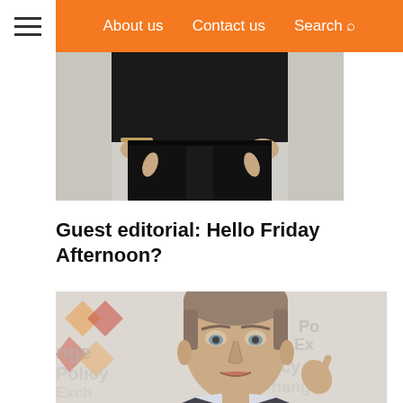≡   About us   Contact us   Search 🔍
[Figure (photo): Photo of a person from the waist down wearing black clothing with hands in pockets]
Guest editorial: Hello Friday Afternoon?
[Figure (photo): Photo of a middle-aged man speaking in front of a Policy Exchange banner/backdrop, gesturing with his hand]